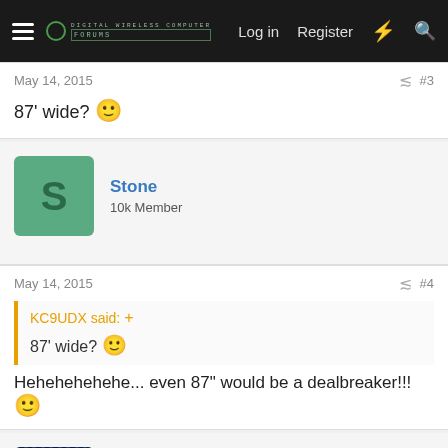Log in  Register
May 14, 2015  #3
87' wide? 🙂
Stone
10k Member
May 14, 2015  #4
KC9UDX said: ↑
87' wide? 🙂
Hehehehehehe... even 87" would be a dealbreaker!!! 🙂
KC9UDX
Space Commander